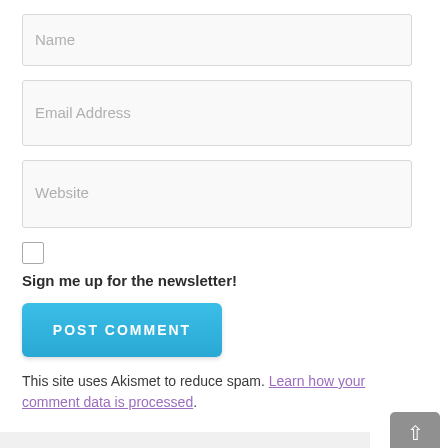[Figure (screenshot): Form input field with placeholder text 'Name']
[Figure (screenshot): Form input field with placeholder text 'Email Address']
[Figure (screenshot): Form input field with placeholder text 'Website']
[Figure (screenshot): Unchecked checkbox]
Sign me up for the newsletter!
[Figure (screenshot): Blue button labeled POST COMMENT]
This site uses Akismet to reduce spam. Learn how your comment data is processed.
[Figure (screenshot): Gray scroll-to-top button with up arrow in bottom right corner]